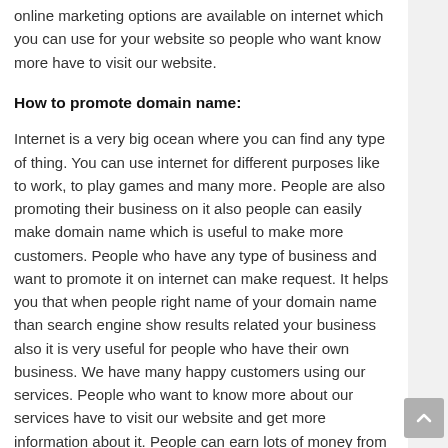online marketing options are available on internet which you can use for your website so people who want know more have to visit our website.
How to promote domain name:
Internet is a very big ocean where you can find any type of thing. You can use internet for different purposes like to work, to play games and many more. People are also promoting their business on it also people can easily make domain name which is useful to make more customers. People who have any type of business and want to promote it on internet can make request. It helps you that when people right name of your domain name than search engine show results related your business also it is very useful for people who have their own business. We have many happy customers using our services. People who want to know more about our services have to visit our website and get more information about it. People can earn lots of money from it so we are helping to make it possible for them.